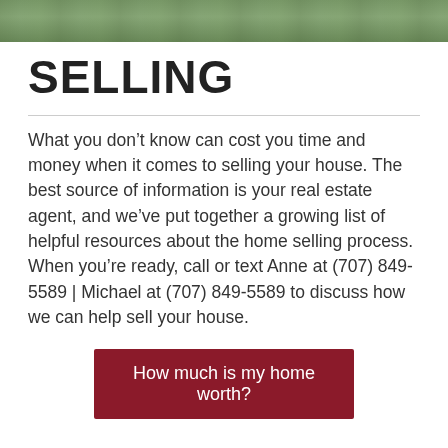[Figure (photo): Outdoor landscape photo banner showing greenery/grass field at the top of the page]
SELLING
What you don’t know can cost you time and money when it comes to selling your house. The best source of information is your real estate agent, and we’ve put together a growing list of helpful resources about the home selling process. When you’re ready, call or text Anne at (707) 849-5589 | Michael at (707) 849-5589 to discuss how we can help sell your house.
How much is my home worth?